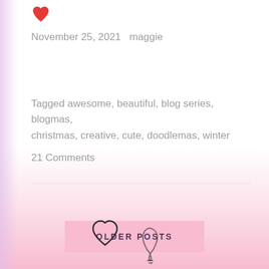[Figure (illustration): Red heart icon at top left]
November 25, 2021   maggie
Tagged awesome, beautiful, blog series, blogmas, christmas, creative, cute, doodlemas, winter
21 Comments
OLDER POSTS
[Figure (illustration): Outlined heart icon and bell icon at bottom of page]